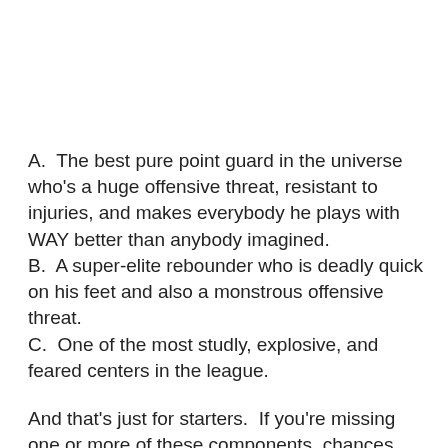A.  The best pure point guard in the universe who's a huge offensive threat, resistant to injuries, and makes everybody he plays with WAY better than anybody imagined.
B.  A super-elite rebounder who is deadly quick on his feet and also a monstrous offensive threat.
C.  One of the most studly, explosive, and feared centers in the league.
And that's just for starters.  If you're missing one or more of these components, chances are the Phoenix